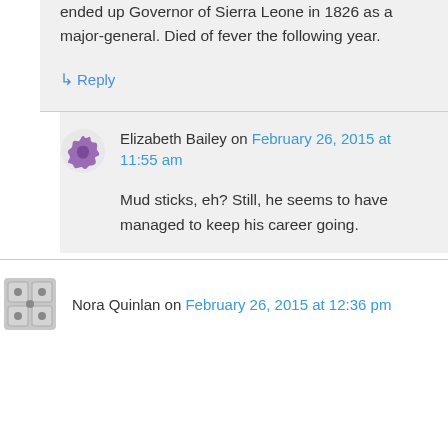ended up Governor of Sierra Leone in 1826 as a major-general. Died of fever the following year.
↳ Reply
Elizabeth Bailey on February 26, 2015 at 11:55 am
Mud sticks, eh? Still, he seems to have managed to keep his career going.
Nora Quinlan on February 26, 2015 at 12:36 pm